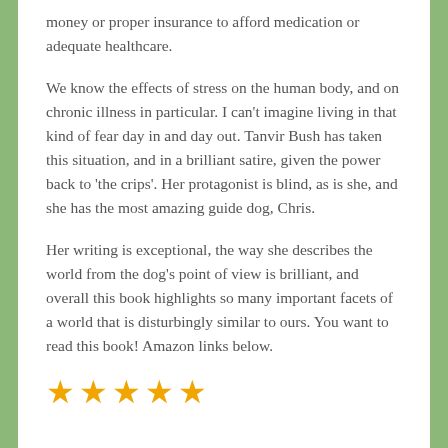money or proper insurance to afford medication or adequate healthcare.
We know the effects of stress on the human body, and on chronic illness in particular. I can’t imagine living in that kind of fear day in and day out. Tanvir Bush has taken this situation, and in a brilliant satire, given the power back to ‘the crips’. Her protagonist is blind, as is she, and she has the most amazing guide dog, Chris.
Her writing is exceptional, the way she describes the world from the dog’s point of view is brilliant, and overall this book highlights so many important facets of a world that is disturbingly similar to ours. You want to read this book! Amazon links below.
[Figure (other): Five gold star rating icons]